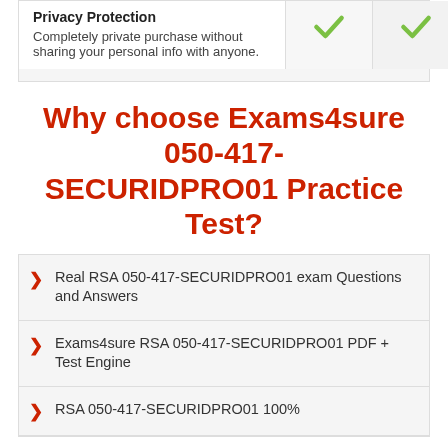| Feature |  |  |
| --- | --- | --- |
| Privacy Protection
Completely private purchase without sharing your personal info with anyone. | ✓ | ✓ |
Why choose Exams4sure 050-417-SECURIDPRO01 Practice Test?
Real RSA 050-417-SECURIDPRO01 exam Questions and Answers
Exams4sure RSA 050-417-SECURIDPRO01 PDF + Test Engine
RSA 050-417-SECURIDPRO01 100%